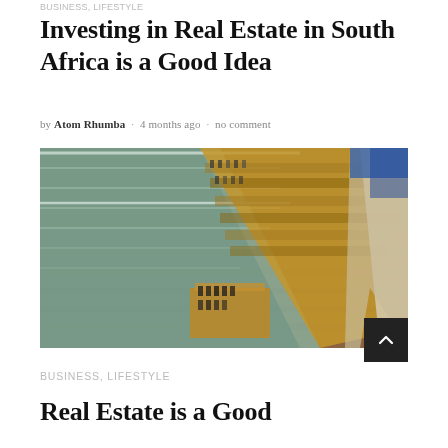BUSINESS, LIFESTYLE
Investing in Real Estate in South Africa is a Good Idea
by Atom Rhumba · 4 months ago · no comment
[Figure (photo): Aerial view of a multi-level shopping mall interior showing escalators, wooden floors, and retail shelving with products]
BUSINESS, LIFESTYLE
Real Estate is a Good